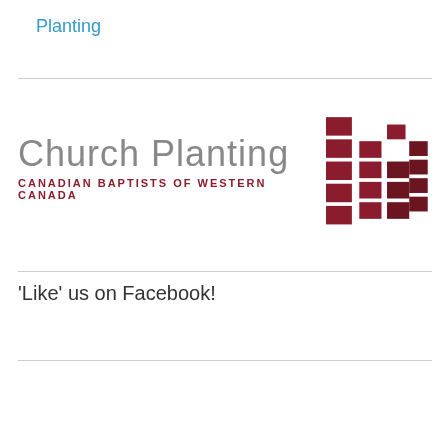Planting
[Figure (logo): Church Planting – Canadian Baptists of Western Canada logo with geometric cross/grid icon in dark red]
'Like' us on Facebook!
Enter your email
Join my email list